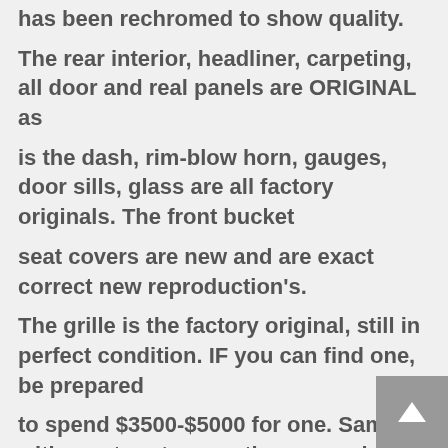has been rechromed to show quality.
The rear interior, headliner, carpeting, all door and real panels are ORIGINAL as
is the dash, rim-blow horn, gauges, door sills, glass are all factory originals. The front bucket
seat covers are new and are exact correct new reproduction's.
The grille is the factory original, still in perfect condition. IF you can find one, be prepared
to spend $3500-$5000 for one. Same with most parts....another example would be a perfect
condition 1970 Dodge Charger steering